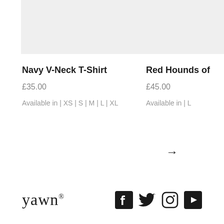[Figure (photo): Product image placeholder for Navy V-Neck T-Shirt (light grey box)]
Navy V-Neck T-Shirt
£35.00
Available in | XS | S | M | L | XL
[Figure (photo): Product image placeholder for Red Hounds of (partial) item (light grey box, cropped on right)]
Red Hounds of
£45.00
Available in | L
→
yawn® — Facebook, Twitter, Instagram, YouTube social icons